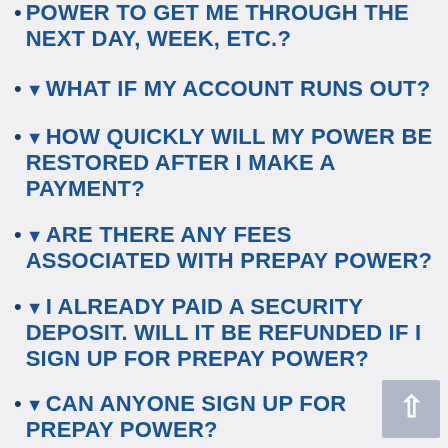POWER TO GET ME THROUGH THE NEXT DAY, WEEK, ETC.?
WHAT IF MY ACCOUNT RUNS OUT?
HOW QUICKLY WILL MY POWER BE RESTORED AFTER I MAKE A PAYMENT?
ARE THERE ANY FEES ASSOCIATED WITH PREPAY POWER?
I ALREADY PAID A SECURITY DEPOSIT. WILL IT BE REFUNDED IF I SIGN UP FOR PREPAY POWER?
CAN ANYONE SIGN UP FOR PREPAY POWER?